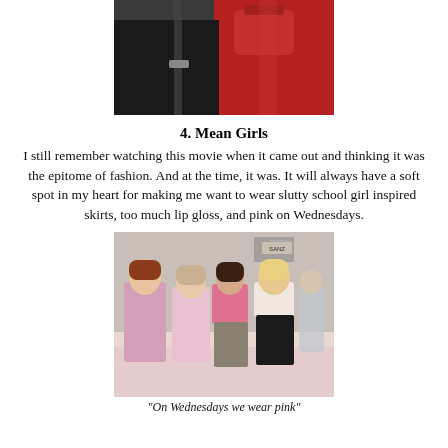[Figure (photo): Close-up photo showing red leather skirt/pants and black leather garment near what appears to be a car, with a red bag visible]
4. Mean Girls
I still remember watching this movie when it came out and thinking it was the epitome of fashion. And at the time, it was. It will always have a soft spot in my heart for making me want to wear slutty school girl inspired skirts, too much lip gloss, and pink on Wednesdays.
[Figure (photo): Scene from Mean Girls movie showing four girls walking through a mall, all wearing pink outfits]
"On Wednesdays we wear pink"